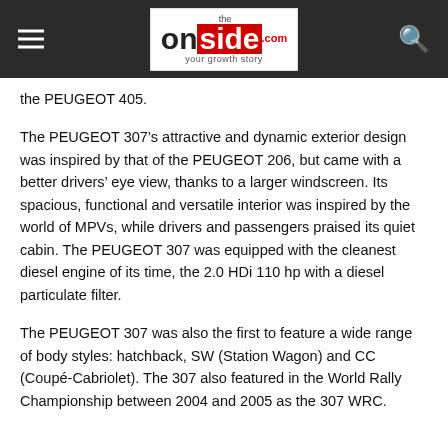the onside .com your growth story
the PEUGEOT 405.
The PEUGEOT 307’s attractive and dynamic exterior design was inspired by that of the PEUGEOT 206, but came with a better drivers’ eye view, thanks to a larger windscreen. Its spacious, functional and versatile interior was inspired by the world of MPVs, while drivers and passengers praised its quiet cabin. The PEUGEOT 307 was equipped with the cleanest diesel engine of its time, the 2.0 HDi 110 hp with a diesel particulate filter.
The PEUGEOT 307 was also the first to feature a wide range of body styles: hatchback, SW (Station Wagon) and CC (Coupé-Cabriolet). The 307 also featured in the World Rally Championship between 2004 and 2005 as the 307 WRC.